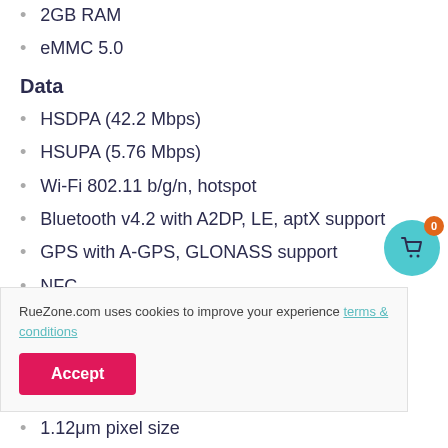2GB RAM
eMMC 5.0
Data
HSDPA (42.2 Mbps)
HSUPA (5.76 Mbps)
Wi-Fi 802.11 b/g/n, hotspot
Bluetooth v4.2 with A2DP, LE, aptX support
GPS with A-GPS, GLONASS support
NFC
MicroUSB v2.0, USB On-The-Go
RueZone.com uses cookies to improve your experience terms & conditions
1.12μm pixel size